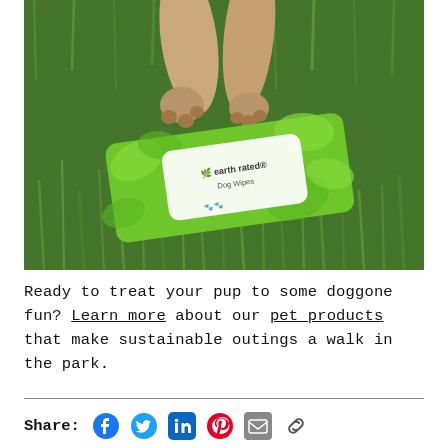[Figure (photo): A dog's paws resting on green grass next to a package of Earth Rated Dog Wipes, which has a white and green tropical leaf design.]
Ready to treat your pup to some doggone fun? Learn more about our pet products that make sustainable outings a walk in the park.
Share: